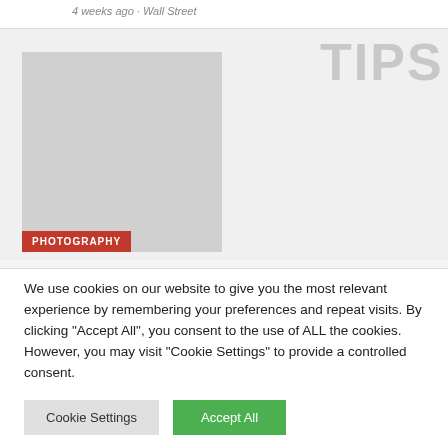4 weeks ago · Wall Street
TIPS
[Figure (photo): Gray placeholder image with a red PHOTOGRAPHY badge at the bottom left]
We use cookies on our website to give you the most relevant experience by remembering your preferences and repeat visits. By clicking "Accept All", you consent to the use of ALL the cookies. However, you may visit "Cookie Settings" to provide a controlled consent.
Cookie Settings | Accept All